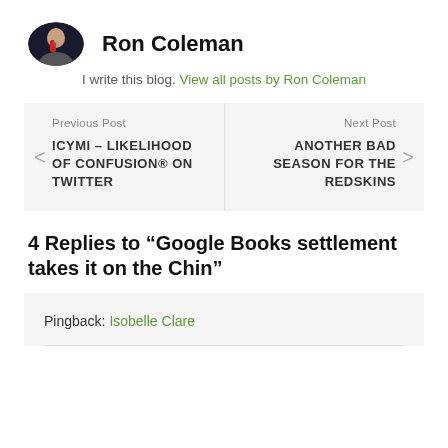[Figure (photo): Round profile photo of Ron Coleman, a man holding a microphone, dark background]
Ron Coleman
I write this blog. View all posts by Ron Coleman
Previous Post
ICYMI – LIKELIHOOD OF CONFUSION® ON TWITTER
Next Post
ANOTHER BAD SEASON FOR THE REDSKINS
4 Replies to “Google Books settlement takes it on the Chin”
Pingback: Isobelle Clare